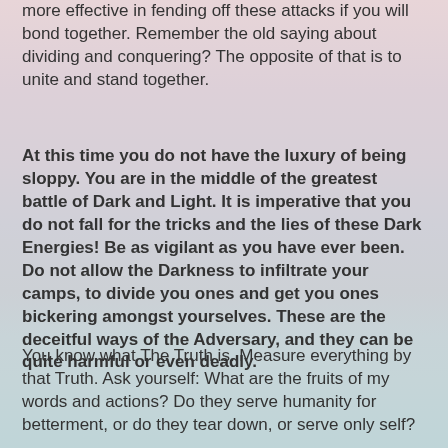Those of you who are in service to Light minds of much more effective in fending off these attacks if you will bond together. Remember the old saying about dividing and conquering? The opposite of that is to unite and stand together.
At this time you do not have the luxury of being sloppy. You are in the middle of the greatest battle of Dark and Light. It is imperative that you do not fall for the tricks and the lies of these Dark Energies! Be as vigilant as you have ever been. Do not allow the Darkness to infiltrate your camps, to divide you ones and get you ones bickering amongst yourselves. These are the deceitful ways of the Adversary, and they can be quite harmful or even deadly.
You know what The Truth is. Measure everything by that Truth. Ask yourself: What are the fruits of my words and actions? Do they serve humanity for betterment, or do they tear down, or serve only self?